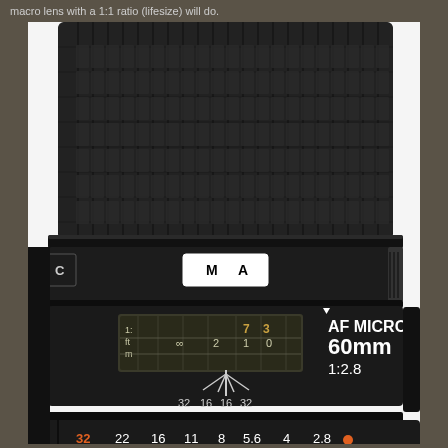macro lens with a 1:1 ratio (lifesize) will do.
[Figure (photo): Close-up photograph of an AF Micro Nikkor 60mm 1:2.8 lens showing the focus ring with M/A switch, depth of field scale showing markings 32 16 16 32, focus distance window showing ft and m scales with values 7, 3, infinity, 2, 1, 0, and aperture ring at bottom showing values 32, 22, 16, 11, 8, 5.6, 4, 2.8 with 32 in orange.]